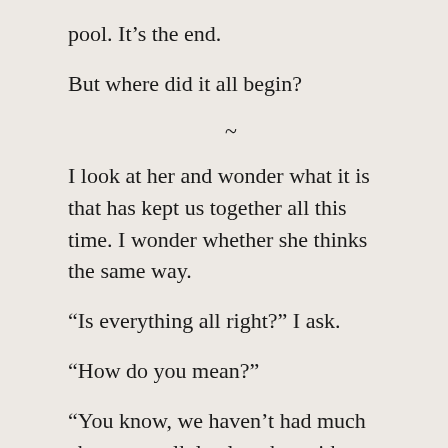pool. It’s the end.
But where did it all begin?
~
I look at her and wonder what it is that has kept us together all this time. I wonder whether she thinks the same way.
“Is everything all right?” I ask.
“How do you mean?”
“You know, we haven’t had much chance to talk lately, what with your work taking it out of you, and most nights you’re too tired to talk